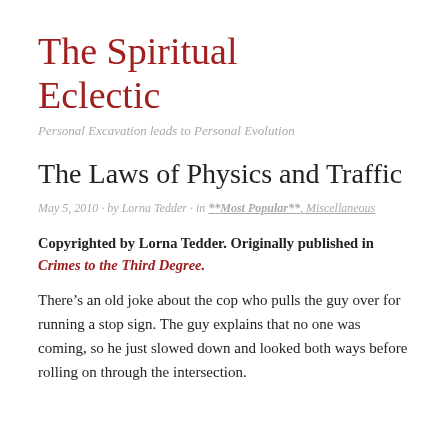The Spiritual Eclectic
Personal Excavation leads to Personal Evolution
The Laws of Physics and Traffic
May 5, 2010 · by Lorna Tedder · in **Most Popular**, Miscellaneous
Copyrighted by Lorna Tedder. Originally published in Crimes to the Third Degree.
There’s an old joke about the cop who pulls the guy over for running a stop sign. The guy explains that no one was coming, so he just slowed down and looked both ways before rolling on through the intersection.